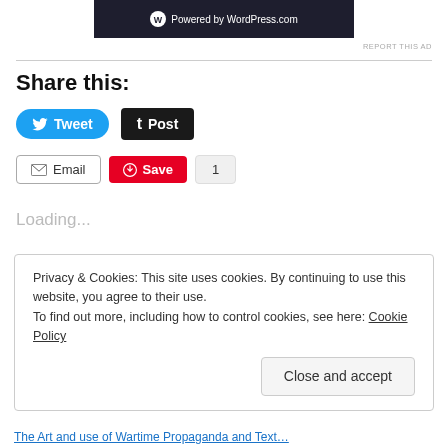[Figure (logo): WordPress.com 'Powered by WordPress.com' banner with dark background]
REPORT THIS AD
Share this:
Tweet  Post  Email  Save  1
Loading...
Privacy & Cookies: This site uses cookies. By continuing to use this website, you agree to their use.
To find out more, including how to control cookies, see here: Cookie Policy
Close and accept
The Art and use of Wartime Propaganda and Text…